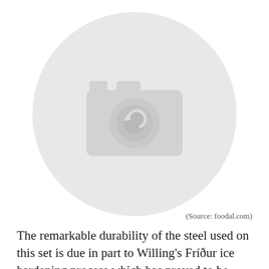[Figure (photo): Placeholder image placeholder showing a camera icon inside a blurred circular frame on a white background]
(Source: foodal.com)
The remarkable durability of the steel used on this set is due in part to Willing’s Fríður ice hardening process which has proved to be more than marketing speak. Ultimately the Willing Pro line of knives are poorly named but well-designed.
Set includes the following: 8 chef, 8 bread, 7